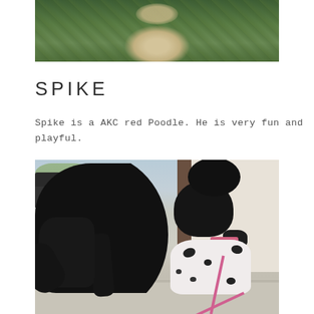[Figure (photo): Photo of a fluffy light-colored dog (appears to be a Poodle puppy) sitting in green grass/foliage, cropped so only the top portion is visible]
SPIKE
Spike is a AKC red Poodle. He is very fun and playful.
[Figure (photo): Photo of a black Standard Poodle standing outdoors near a building, appearing to interact with a smaller black and white dalmatian-patterned dog on a pink leash. A truck and suburban background are visible.]